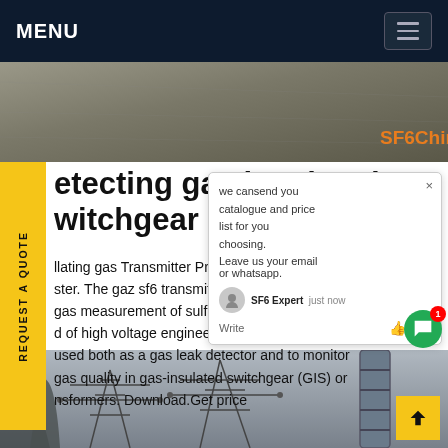MENU
[Figure (photo): Aerial/close-up photo with SF6China watermark in orange text]
etecting gas insulated witchgear sf6 Afric
llating gas Transmitter Product I... e ster. The gaz sf6 transmitter is id... for gas measurement of sulfur h... ne d of high voltage engineering. The... r can used both as a gas leak detector and to monitor gas quality in gas-insulated switchgear (GIS) or nsformers. Download.Get price
[Figure (photo): Photo of electrical substation with high voltage towers and insulators]